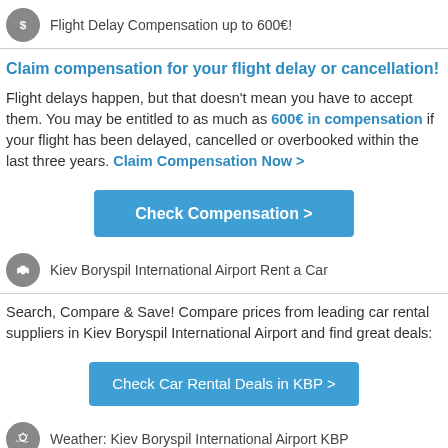Flight Delay Compensation up to 600€!
Claim compensation for your flight delay or cancellation!
Flight delays happen, but that doesn't mean you have to accept them. You may be entitled to as much as 600€ in compensation if your flight has been delayed, cancelled or overbooked within the last three years. Claim Compensation Now >
[Figure (other): Blue button: Check Compensation >]
Kiev Boryspil International Airport Rent a Car
Search, Compare & Save! Compare prices from leading car rental suppliers in Kiev Boryspil International Airport and find great deals:
[Figure (other): Blue button: Check Car Rental Deals in KBP >]
Weather: Kiev Boryspil International Airport KBP
The weather conditions recorded for Kiev Boryspil International Airport Saturday, August 20 at 9:23 pm are: Broken clouds with 64% clouds and a temperature of 21 ° The temperature today is expected to range